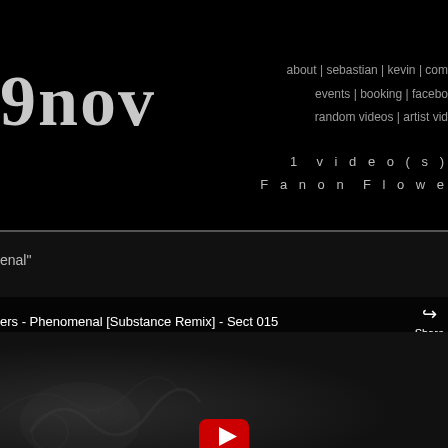9nov
about | sebastian | kevin | com... events | booking | facebo... random videos | artist vid...
1 video(s)
Fanon Flowe
enal"
ers - Phenomenal [Substance Remix] - Sect 015   Share
[Figure (screenshot): YouTube video thumbnail showing a dark decorative background with floral/scroll patterns and a YouTube play button at the bottom center.]